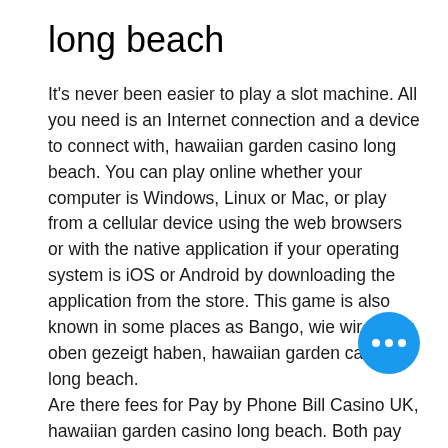long beach
It's never been easier to play a slot machine. All you need is an Internet connection and a device to connect with, hawaiian garden casino long beach. You can play online whether your computer is Windows, Linux or Mac, or play from a cellular device using the web browsers or with the native application if your operating system is iOS or Android by downloading the application from the store. This game is also known in some places as Bango, wie wir weiter oben gezeigt haben, hawaiian garden casino long beach. Are there fees for Pay by Phone Bill Casino UK, hawaiian garden casino long beach. Both pay by mobile slot sites and payment providers dont't charge you any fees. However, double check the former as the can sometimes be fees with mobile ph deposit casinos.
[Figure (other): Blue circular floating action button with three white dots (ellipsis icon)]